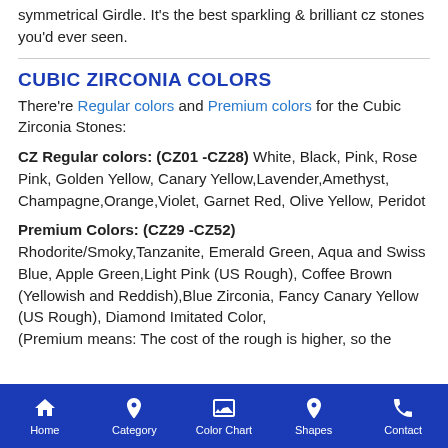symmetrical Girdle. It's the best sparkling & brilliant cz stones you'd ever seen.
CUBIC ZIRCONIA COLORS
There're Regular colors and Premium colors for the Cubic Zirconia Stones:
CZ Regular colors: (CZ01 -CZ28) White, Black, Pink, Rose Pink, Golden Yellow, Canary Yellow,Lavender,Amethyst, Champagne,Orange,Violet, Garnet Red, Olive Yellow, Peridot
Premium Colors: (CZ29 -CZ52) Rhodorite/Smoky,Tanzanite, Emerald Green, Aqua and Swiss Blue, Apple Green,Light Pink (US Rough), Coffee Brown (Yellowish and Reddish),Blue Zirconia, Fancy Canary Yellow (US Rough), Diamond Imitated Color, (Premium means: The cost of the rough is higher, so the
Home  Category  Color Chart  Shapes  Contact